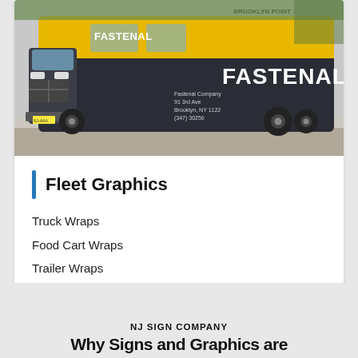[Figure (photo): A Fastenal branded van/truck with yellow and dark navy livery, parked on a street. The van has 'FASTENAL' in large white letters on the side, along with address/contact text.]
Fleet Graphics
Truck Wraps
Food Cart Wraps
Trailer Wraps
Truck Lettering
Bus Wraps
NJ SIGN COMPANY
Why Signs and Graphics are